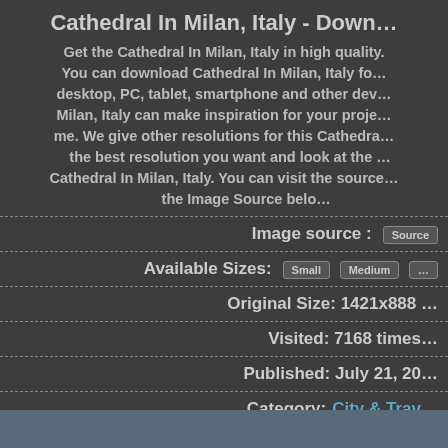Cathedral In Milan, Italy - Down…
Get the Cathedral In Milan, Italy in high quality. You can download Cathedral In Milan, Italy for desktop, PC, tablet, smartphone and other devices. Cathedral In Milan, Italy can make inspiration for your project, me. We give other resolutions for this Cathedral — the best resolution you want and look at the Cathedral In Milan, Italy. You can visit the source using the Image Source below.
Image source :  Source
Available Sizes:  Small  Medium  …
Original Size: 1421x888 …
Visited: 7168 times
Published: July 21, 20…
Category: City & Trav…
Download